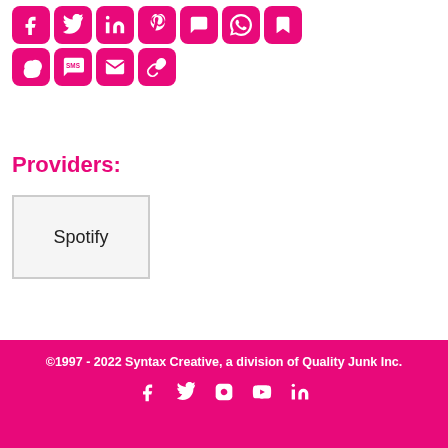[Figure (illustration): Grid of social media sharing icon buttons (pink rounded squares) showing Facebook, Twitter, LinkedIn, Pinterest/flag, mail/message, WhatsApp/message, bookmark top row; Skype, SMS, Email, Link chain bottom row]
Providers:
[Figure (illustration): Spotify provider button/box with light gray border and background, labeled 'Spotify']
©1997 - 2022 Syntax Creative, a division of Quality Junk Inc.